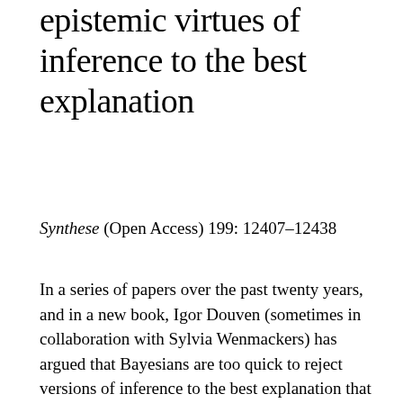epistemic virtues of inference to the best explanation
Synthese (Open Access) 199: 12407–12438
In a series of papers over the past twenty years, and in a new book, Igor Douven (sometimes in collaboration with Sylvia Wenmackers) has argued that Bayesians are too quick to reject versions of inference to the best explanation that cannot be accommodated within their framework. In this paper, I survey Douven's worries and attempt to answer them using a series of pragmatic and purely epistemic arguments that I take to show…